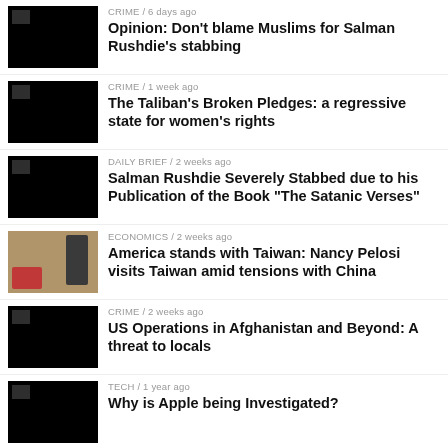CRIME / 6 days ago — Opinion: Don't blame Muslims for Salman Rushdie's stabbing
CRIME / 1 week ago — The Taliban's Broken Pledges: a regressive state for women's rights
DAILY BRIEF / 2 weeks ago — Salman Rushdie Severely Stabbed due to his Publication of the Book "The Satanic Verses"
ECONOMICS / 2 weeks ago — America stands with Taiwan: Nancy Pelosi visits Taiwan amid tensions with China
CRIME / 2 weeks ago — US Operations in Afghanistan and Beyond: A threat to locals
TECH / 1 year ago — Why is Apple being Investigated?
SPORT / 1 year ago — Football – the growing problem of online abuse